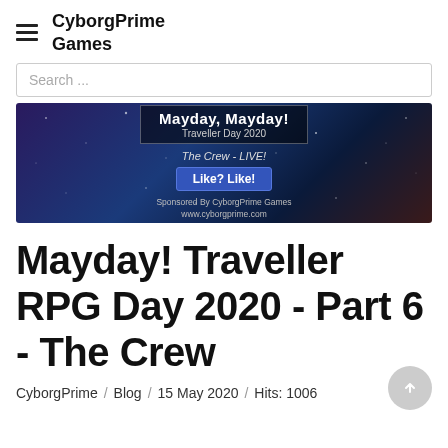CyborgPrime Games
Search ...
[Figure (photo): Banner image for Mayday, Mayday! Traveller Day 2020 event. Dark space/galaxy background with text: 'Mayday, Mayday!', 'Traveller Day 2020', 'The Crew - LIVE!', 'Like? Like!' button, 'Sponsored By CyborgPrime Games', 'www.cyborgprime.com']
Mayday! Traveller RPG Day 2020 - Part 6 - The Crew
CyborgPrime / Blog / 15 May 2020 / Hits: 1006